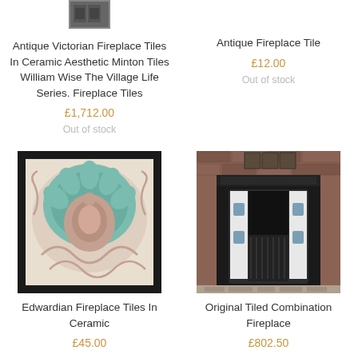[Figure (photo): Small thumbnail image of antique Victorian fireplace tiles at top of page]
Antique Victorian Fireplace Tiles In Ceramic Aesthetic Minton Tiles William Wise The Village Life Series. Fireplace Tiles
£1,712.00
Out of stock
Antique Fireplace Tile
£12.00
Out of stock
[Figure (photo): Edwardian ceramic fireplace tile with large teal/blue floral chrysanthemum design on cream background with ornate border, black frame]
Edwardian Fireplace Tiles In Ceramic
£45.00
[Figure (photo): Original tiled combination fireplace set into brick wall, black cast iron surround with white tiles]
Original Tiled Combination Fireplace
£802.50